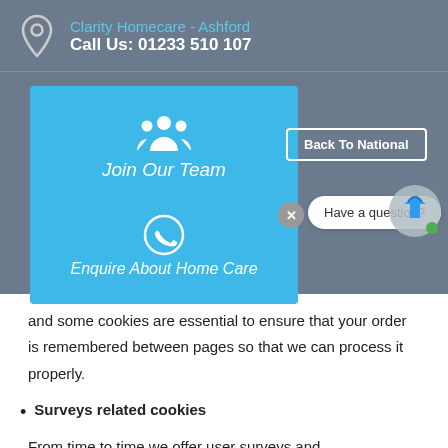Clarity Homecare - Ashford
Call Us: 01233 510 107
[Figure (screenshot): Blue interactive panel with 'Join Our Team' section (group icon), 'Enquire About Home Care' section (phone icon), overlaid 'Back To National' button, 'Have a question?' chat bubble with close button, and chat bot icon with green dot.]
and some cookies are essential to ensure that your order is remembered between pages so that we can process it properly.
Surveys related cookies
From time to time we offer user surveys and questionnaires to provide you with interesting